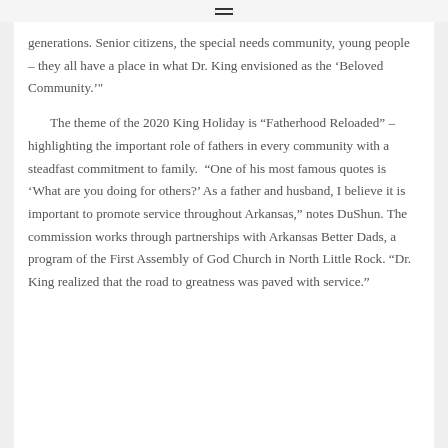generations. Senior citizens, the special needs community, young people – they all have a place in what Dr. King envisioned as the 'Beloved Community.'
The theme of the 2020 King Holiday is "Fatherhood Reloaded" – highlighting the important role of fathers in every community with a steadfast commitment to family. "One of his most famous quotes is 'What are you doing for others?' As a father and husband, I believe it is important to promote service throughout Arkansas," notes DuShun. The commission works through partnerships with Arkansas Better Dads, a program of the First Assembly of God Church in North Little Rock. "Dr. King realized that the road to greatness was paved with service."